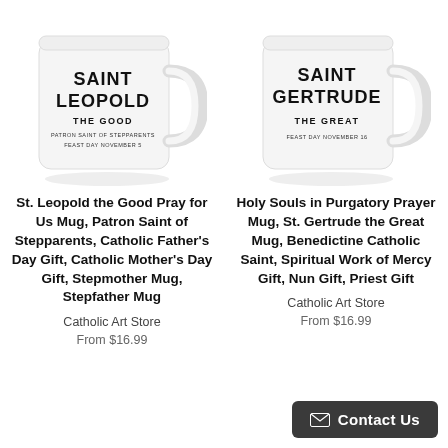[Figure (photo): White ceramic mug with text 'SAINT LEOPOLD THE GOOD, PATRON SAINT OF STEPPARENTS, FEAST DAY NOVEMBER 5']
St. Leopold the Good Pray for Us Mug, Patron Saint of Stepparents, Catholic Father's Day Gift, Catholic Mother's Day Gift, Stepmother Mug, Stepfather Mug
Catholic Art Store
From $16.99
[Figure (photo): White ceramic mug with text 'SAINT GERTRUDE THE GREAT, FEAST DAY NOVEMBER 16']
Holy Souls in Purgatory Prayer Mug, St. Gertrude the Great Mug, Benedictine Catholic Saint, Spiritual Work of Mercy Gift, Nun Gift, Priest Gift
Catholic Art Store
From $16.99